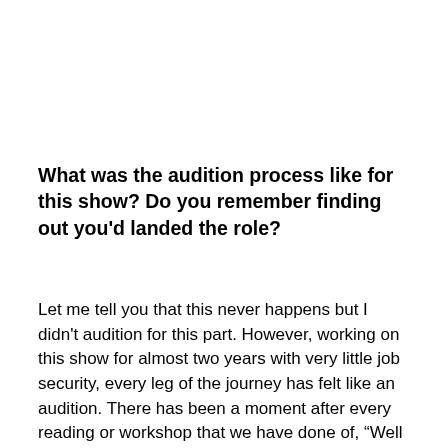What was the audition process like for this show? Do you remember finding out you'd landed the role?
Let me tell you that this never happens but I didn't audition for this part. However, working on this show for almost two years with very little job security, every leg of the journey has felt like an audition. There has been a moment after every reading or workshop that we have done of, “Well that was great fun but it’s over. They’re definitely going to replace me.” I do remember after one particular lab, that Michael Grandage sent me an email saying that they’d like to offer me the part